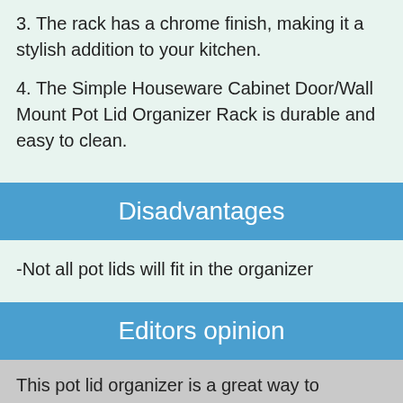3. The rack has a chrome finish, making it a stylish addition to your kitchen.
4. The Simple Houseware Cabinet Door/Wall Mount Pot Lid Organizer Rack is durable and easy to clean.
Disadvantages
-Not all pot lids will fit in the organizer
Editors opinion
This pot lid organizer is a great way to organize your pots and lids. It mounts to the cabinet door or wall, and has room for several pots and